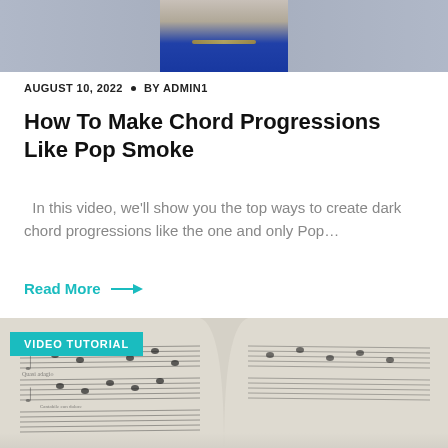[Figure (photo): Photo of a person wearing a blue jacket and gold chain, cropped at chest/head level]
AUGUST 10, 2022  •  BY ADMIN1
How To Make Chord Progressions Like Pop Smoke
In this video, we'll show you the top ways to create dark chord progressions like the one and only Pop…
Read More →
[Figure (photo): Close-up photo of open sheet music with musical notation, with a teal 'VIDEO TUTORIAL' badge overlay]